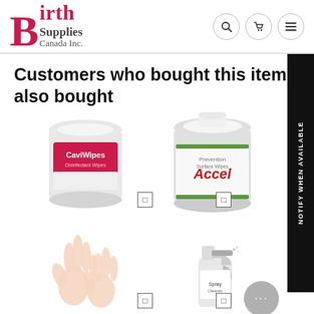[Figure (logo): Birth Supplies Canada Inc. logo with large red serif B and text]
Customers who bought this item also bought
[Figure (photo): CaviWipes disinfectant wipes canister product image]
[Figure (photo): Accel Prevention surface wipes canister product image]
[Figure (photo): Pair of hands wearing disposable gloves product image]
[Figure (photo): Spray bottle cleaner product image]